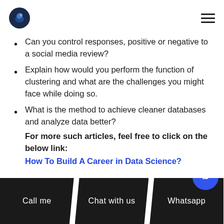[logo] [hamburger menu]
Can you control responses, positive or negative to a social media review?
Explain how would you perform the function of clustering and what are the challenges you might face while doing so.
What is the method to achieve cleaner databases and analyze data better?
For more such articles, feel free to click on the below link:
How To Build A Career in Data Science?
Call me   Chat with us   Whatsapp